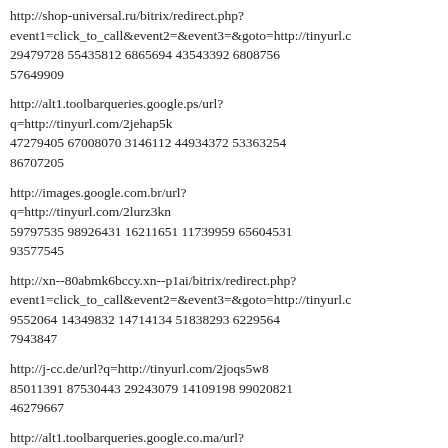http://shop-universal.ru/bitrix/redirect.php?event1=click_to_call&event2=&event3=&goto=http://tinyurl.c… 29479728 55435812 6865694 43543392 6808756 57649909
http://alt1.toolbarqueries.google.ps/url?q=http://tinyurl.com/2jehap5k 47279405 67008070 3146112 44934372 53363254 86707205
http://images.google.com.br/url?q=http://tinyurl.com/2lurz3kn 59797535 98926431 16211651 11739959 65604531 93577545
http://xn--80abmk6bccy.xn--p1ai/bitrix/redirect.php?event1=click_to_call&event2=&event3=&goto=http://tinyurl.c… 9552064 14349832 14714134 51838293 6229564 7943847
http://j-cc.de/url?q=http://tinyurl.com/2joqs5w8 85011391 87530443 29243079 14109198 99020821 46279667
http://alt1.toolbarqueries.google.co.ma/url?q=http://tinyurl.com/2lep3q…